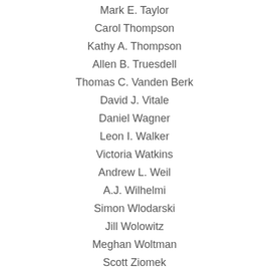Mark E. Taylor
Carol Thompson
Kathy A. Thompson
Allen B. Truesdell
Thomas C. Vanden Berk
David J. Vitale
Daniel Wagner
Leon I. Walker
Victoria Watkins
Andrew L. Weil
A.J. Wilhelmi
Simon Wlodarski
Jill Wolowitz
Meghan Woltman
Scott Ziomek
*Denotes Chair